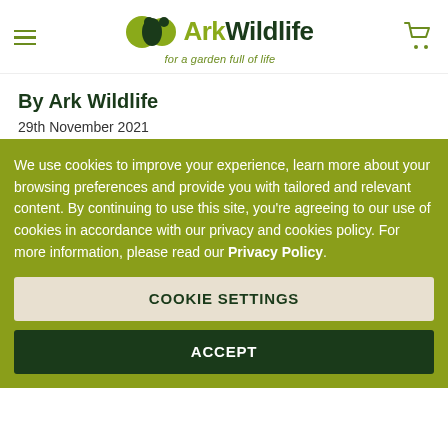Ark Wildlife – for a garden full of life
By Ark Wildlife
29th November 2021
We use cookies to improve your experience, learn more about your browsing preferences and provide you with tailored and relevant content. By continuing to use this site, you're agreeing to our use of cookies in accordance with our privacy and cookies policy. For more information, please read our Privacy Policy.
COOKIE SETTINGS
ACCEPT